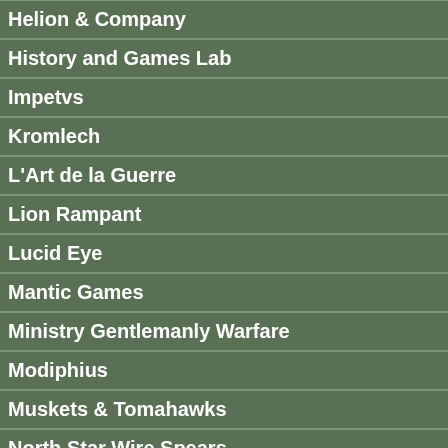Helion & Company
History and Games Lab
Impetvs
Kromlech
L'Art de la Guerre
Lion Rampant
Lucid Eye
Mantic Games
Ministry Gentlemanly Warfare
Modiphius
Muskets & Tomahawks
North Star Wire Spears
North Star 1672
North Star 1864
North Star 1866